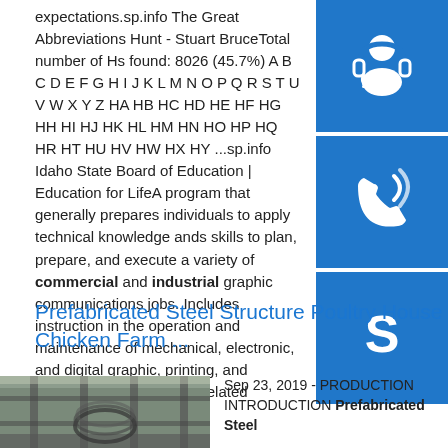expectations.sp.info The Great Abbreviations Hunt - Stuart BruceTotal number of Hs found: 8026 (45.7%) A B C D E F G H I J K L M N O P Q R S T U V W X Y Z HA HB HC HD HE HF HG HH HI HJ HK HL HM HN HO HP HQ HR HT HU HV HW HX HY ...sp.info Idaho State Board of Education | Education for LifeA program that generally prepares individuals to apply technical knowledge and skills to plan, prepare, and execute a variety of commercial and industrial graphic communications jobs. Includes instruction in the operation and maintenance of mechanical, electronic, and digital graphic, printing, and finishing equipment; and related processes. 10 ...
[Figure (illustration): Blue sidebar with three icons: headset/support icon, phone/call icon, and Skype icon, each in a blue square button]
Prefabricated Steel Structure Poultry House Chicken Farm ...
[Figure (photo): Photo of prefabricated steel structure interior showing metal beams and construction]
Sep 23, 2019 - PRODUCTION INTRODUCTION Prefabricated Steel